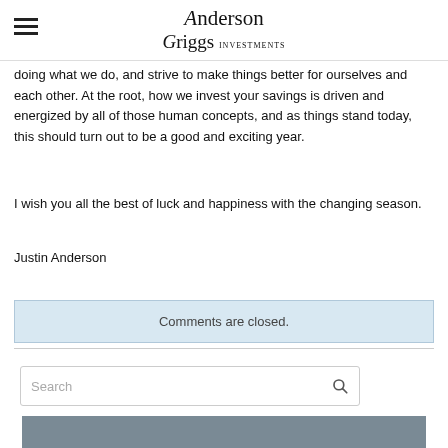Anderson Griggs
doing what we do, and strive to make things better for ourselves and each other. At the root, how we invest your savings is driven and energized by all of those human concepts, and as things stand today, this should turn out to be a good and exciting year.
I wish you all the best of luck and happiness with the changing season.
Justin Anderson
Comments are closed.
[Figure (screenshot): Search bar with placeholder text 'Search' and a magnifying glass icon]
[Figure (photo): Partial photo of a person, appears to be a professional headshot or portrait]